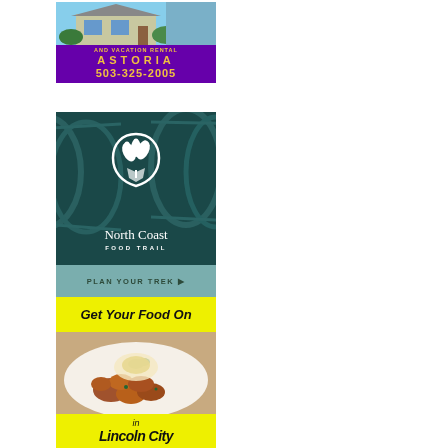[Figure (illustration): Advertisement for Astoria vacation rental. Shows a house photo at top with purple banner below reading 'AND VACATION RENTAL', 'ASTORIA', '503-325-2005' in yellow text.]
[Figure (illustration): North Coast Food Trail advertisement with teal barrel background, white circle logo with plant illustration, text 'North Coast FOOD TRAIL', and a 'PLAN YOUR TREK' button on a sage-green bar.]
[Figure (illustration): Lincoln City food advertisement with yellow top banner reading 'Get Your Food On', a photo of a food dish, and yellow bottom strip reading 'in Lincoln City'.]